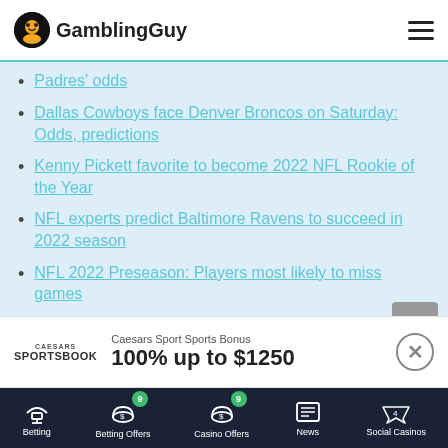GamblingGuy
Padres' odds
Dallas Cowboys face Denver Broncos on Saturday: Odds, predictions
Kenny Pickett favorite to become 2022 NFL Rookie of the Year
NFL experts predict Baltimore Ravens to succeed in 2022 season
NFL 2022 Preseason: Players most likely to miss games
NBA Defensive Players 2022: Best odds from BetOnline
2022 NFL: Buccaneers WR Mike Evans' fantasy
Caesars Sport Sports Bonus
100% up to $1250
Betting | Betting Offers 9 | Casino Offers 9 | News | Social Casinos